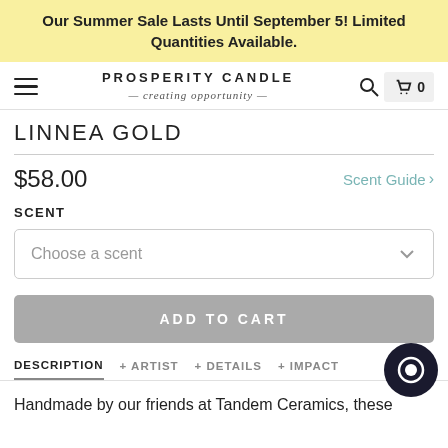Our Summer Sale Lasts Until September 5! Limited Quantities Available.
[Figure (screenshot): Prosperity Candle logo with tagline 'creating opportunity', hamburger menu, search icon, cart with 0 items]
LINNEA GOLD
$58.00
Scent Guide >
SCENT
Choose a scent
ADD TO CART
DESCRIPTION  + ARTIST  + DETAILS  + IMPACT
Handmade by our friends at Tandem Ceramics, these